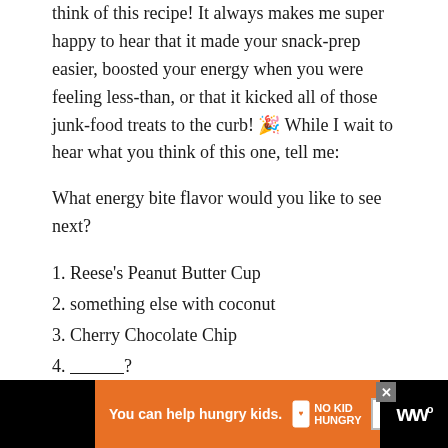think of this recipe! It always makes me super happy to hear that it made your snack-prep easier, boosted your energy when you were feeling less-than, or that it kicked all of those junk-food treats to the curb! 🎉 While I wait to hear what you think of this one, tell me:
What energy bite flavor would you like to see next?
1. Reese’s Peanut Butter Cup
2. something else with coconut
3. Cherry Chocolate Chip
4. ___________?
Sending you all my love and maybe even a dove, xo
Demeter ♥
[Figure (other): Advertisement banner at bottom: orange/black ad reading 'You can help hungry kids.' with No Kid Hungry logo and 'Learn How' button]